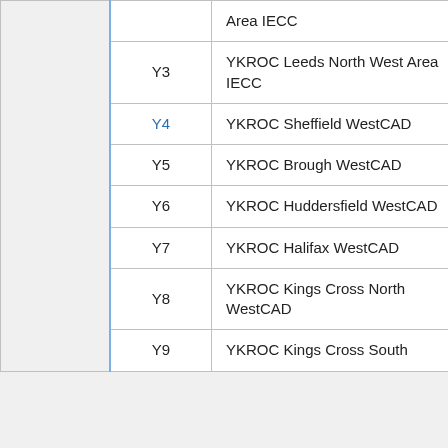|  | ID | Name | Status |
| --- | --- | --- | --- |
|  |  | Area IECC | (… |
|  | Y3 | YKROC Leeds North West Area IECC | TBC (LNE_N… |
|  | Y4 | YKROC Sheffield WestCAD | TBD |
|  | Y5 | YKROC Brough WestCAD | TBD |
|  | Y6 | YKROC Huddersfield WestCAD | TBD |
|  | Y7 | YKROC Halifax WestCAD | TBD |
|  | Y8 | YKROC Kings Cross North WestCAD | TBD |
|  | Y9 | YKROC Kings Cross South | TBD |